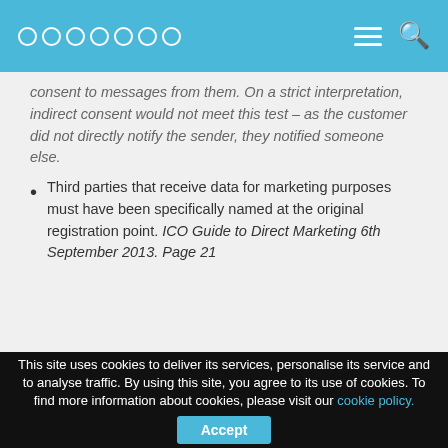Appoddo navigation bar with logo and menu/search icons
consent to messages from them. On a strict interpretation, indirect consent would not meet this test – as the customer did not directly notify the sender, they notified someone else.
Third parties that receive data for marketing purposes must have been specifically named at the original registration point. ICO Guide to Direct Marketing 6th September 2013. Page 21
This site uses cookies to deliver its services, personalise its service and to analyse traffic. By using this site, you agree to its use of cookies. To find more information about cookies, please visit our cookie policy. Accept